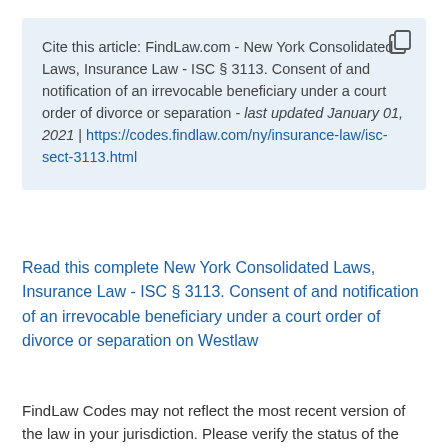Cite this article: FindLaw.com - New York Consolidated Laws, Insurance Law - ISC § 3113. Consent of and notification of an irrevocable beneficiary under a court order of divorce or separation - last updated January 01, 2021 | https://codes.findlaw.com/ny/insurance-law/isc-sect-3113.html
Read this complete New York Consolidated Laws, Insurance Law - ISC § 3113. Consent of and notification of an irrevocable beneficiary under a court order of divorce or separation on Westlaw
FindLaw Codes may not reflect the most recent version of the law in your jurisdiction. Please verify the status of the